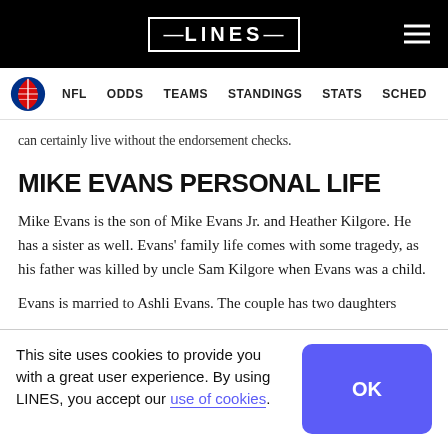LINES (logo header with hamburger menu)
NFL  ODDS  TEAMS  STANDINGS  STATS  SCHED
can certainly live without the endorsement checks.
MIKE EVANS PERSONAL LIFE
Mike Evans is the son of Mike Evans Jr. and Heather Kilgore. He has a sister as well. Evans' family life comes with some tragedy, as his father was killed by uncle Sam Kilgore when Evans was a child.
Evans is married to Ashli Evans. The couple has two daughters
This site uses cookies to provide you with a great user experience. By using LINES, you accept our use of cookies.